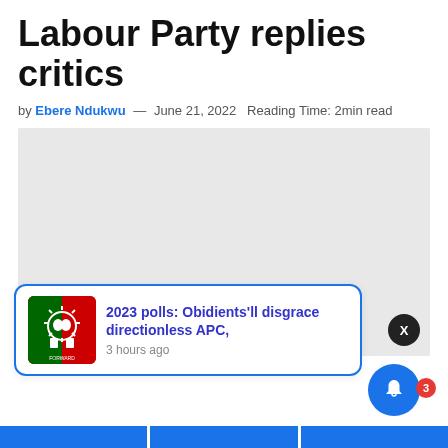Labour Party replies critics
by Ebere Ndukwu — June 21, 2022  Reading Time: 2min read
[Figure (photo): Large image placeholder (light gray rectangle representing a photo or advertisement area) with an X close button in the lower right corner]
2023 polls: Obidients'll disgrace directionless APC,
3 hours ago